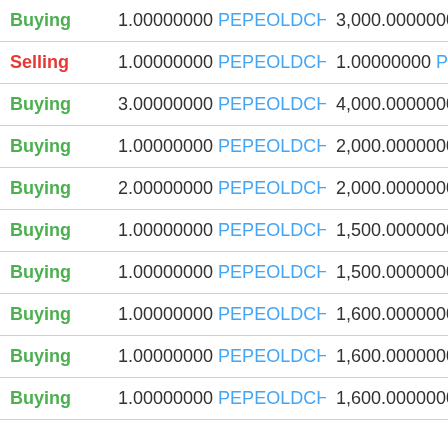| Type | Amount | Price |
| --- | --- | --- |
| Buying | 1.00000000 PEPEOLDCHAP | 3,000.00000000 PEPE |
| Selling | 1.00000000 PEPEOLDCHAP | 1.00000000 PEPECAS |
| Buying | 3.00000000 PEPEOLDCHAP | 4,000.00000000 PEPE |
| Buying | 1.00000000 PEPEOLDCHAP | 2,000.00000000 PEPE |
| Buying | 2.00000000 PEPEOLDCHAP | 2,000.00000000 PEPE |
| Buying | 1.00000000 PEPEOLDCHAP | 1,500.00000000 PEPE |
| Buying | 1.00000000 PEPEOLDCHAP | 1,500.00000000 PEPE |
| Buying | 1.00000000 PEPEOLDCHAP | 1,600.00000000 PEPE |
| Buying | 1.00000000 PEPEOLDCHAP | 1,600.00000000 PEPE |
| Buying | 1.00000000 PEPEOLDCHAP | 1,600.00000000 PEPE |